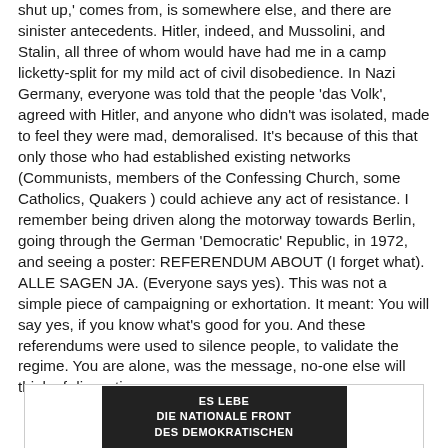shut up,' comes from, is somewhere else, and there are sinister antecedents. Hitler, indeed, and Mussolini, and Stalin, all three of whom would have had me in a camp licketty-split for my mild act of civil disobedience. In Nazi Germany, everyone was told that the people 'das Volk', agreed with Hitler, and anyone who didn't was isolated, made to feel they were mad, demoralised. It's because of this that only those who had established existing networks (Communists, members of the Confessing Church, some Catholics, Quakers ) could achieve any act of resistance. I remember being driven along the motorway towards Berlin, going through the German 'Democratic' Republic, in 1972, and seeing a poster: REFERENDUM ABOUT (I forget what). ALLE SAGEN JA. (Everyone says yes). This was not a simple piece of campaigning or exhortation. It meant: You will say yes, if you know what's good for you. And these referendums were used to silence people, to validate the regime. You are alone, was the message, no-one else will think of dissenting.
[Figure (photo): Black and white photograph of a large sign or banner with bold white text on dark background reading: ES LEBE DIE NATIONALE FRONT DES DEMOKRATISCHEN]